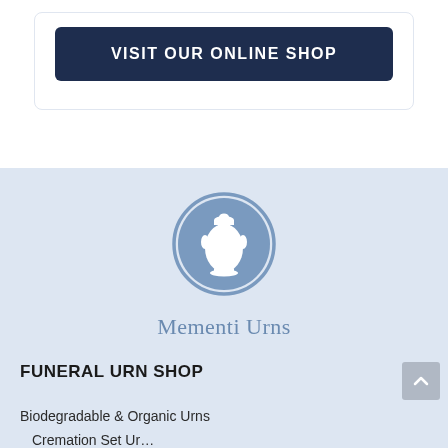VISIT OUR ONLINE SHOP
[Figure (illustration): Circular urn icon with a white silhouette of a funeral urn centered in a steel-blue circle, on a light blue background]
Mementi Urns
FUNERAL URN SHOP
Biodegradable & Organic Urns
Cremation Set Ur…